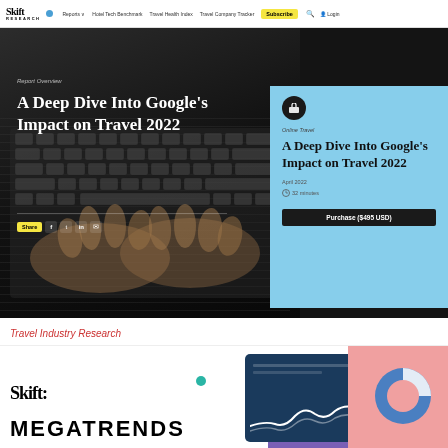Skift Research | Reports | Hotel Tech Benchmark | Travel Health Index | Travel Company Tracker | Subscribe
[Figure (screenshot): Hero image showing hands on a laptop keyboard in dark lighting, overlaid with report title text and a light blue card panel on the right with report details and purchase button]
Report Overview
A Deep Dive Into Google's Impact on Travel 2022
Online Travel
A Deep Dive Into Google's Impact on Travel 2022
April 2022
32 minutes
Purchase ($495 USD)
Travel Industry Research
[Figure (illustration): Skift Megatrends section with Skift logo, MEGATRENDS text, teal dot, dark blue tablet illustration with wave chart, pink card with pie chart, and purple blob shape]